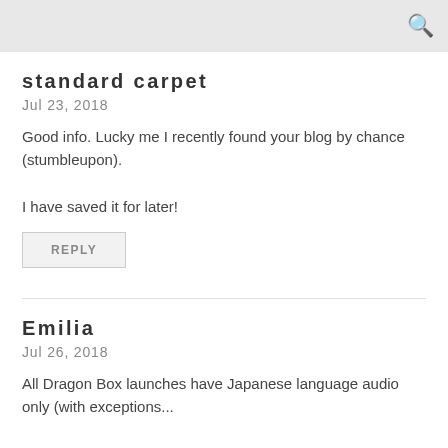standard carpet
Jul 23, 2018
Good info. Lucky me I recently found your blog by chance (stumbleupon).

I have saved it for later!
REPLY
Emilia
Jul 26, 2018
All Dragon Box launches have Japanese language audio only (with exceptions...